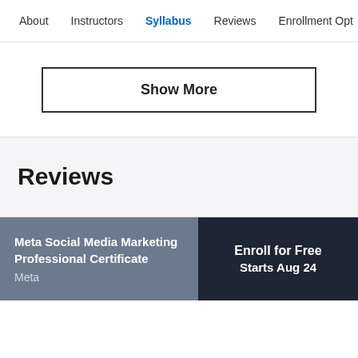About  Instructors  Syllabus  Reviews  Enrollment Opt
Show More
Reviews
Meta Social Media Marketing Professional Certificate
Meta
Enroll for Free
Starts Aug 24